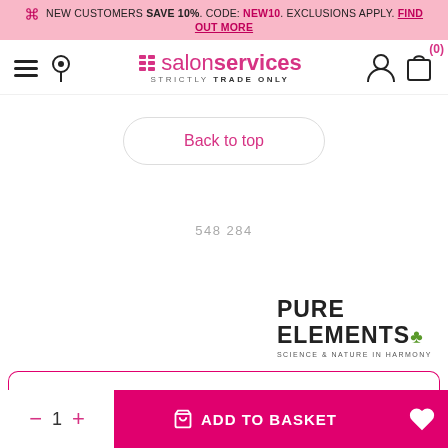NEW CUSTOMERS SAVE 10%. CODE: NEW10. EXCLUSIONS APPLY. FIND OUT MORE
[Figure (screenshot): Salon Services navigation bar with hamburger menu, location pin icon, Salon Services logo (STRICTLY TRADE ONLY), user account icon, shopping bag icon with cart count (0)]
Back to top
548284
[Figure (logo): Pure Elements logo - PURE ELEMENTS with green leaf, tagline SCIENCE & NATURE IN HARMONY]
ADD TO BASKET